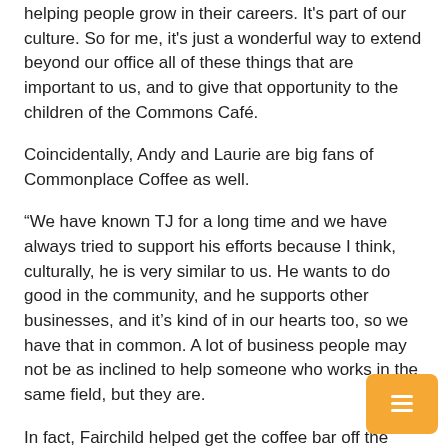helping people grow in their careers. It's part of our culture. So for me, it's just a wonderful way to extend beyond our office all of these things that are important to us, and to give that opportunity to the children of the Commons Café.
Coincidentally, Andy and Laurie are big fans of Commonplace Coffee as well.
“We have known TJ for a long time and we have always tried to support his efforts because I think, culturally, he is very similar to us. He wants to do good in the community, and he supports other businesses, and it’s kind of in our hearts too, so we have that in common. A lot of business people may not be as inclined to help someone who works in the same field, but they are.
In fact, Fairchild helped get the coffee bar off the ground by donating equipment and educating Dad on what supplies to buy and how to make various drinks. And, of course, it serves Commonplace Coffee exclusively.
“I’m delighted to support this,” said Fairchild, who visits the